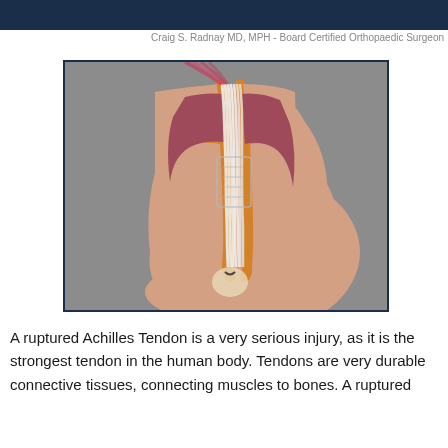Craig S. Radnay MD, MPH - Board Certified Orthopaedic Surgeon
[Figure (illustration): Medical illustration of a ruptured Achilles tendon showing a cross-section of the ankle with the skin peeled back to reveal the tendon, surrounding muscle tissue, and bone structure. The image has a blue border on a gray background.]
A ruptured Achilles Tendon is a very serious injury, as it is the strongest tendon in the human body. Tendons are very durable connective tissues, connecting muscles to bones. A ruptured